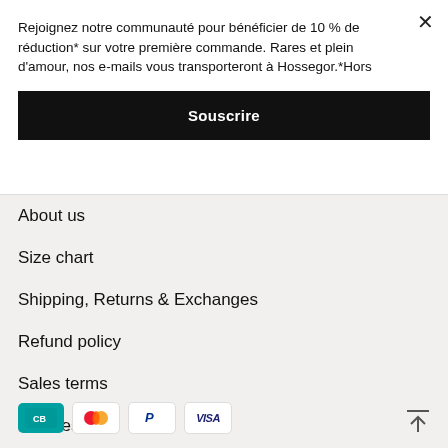Rejoignez notre communauté pour bénéficier de 10 % de réduction* sur votre première commande. Rares et plein d'amour, nos e-mails vous transporteront à Hossegor.*Hors
Souscrire
About us
Size chart
Shipping, Returns & Exchanges
Refund policy
Sales terms
Cookies
Legal notice
[Figure (other): Payment method icons: CB (teal), Mastercard (red/orange circles), PayPal (blue P), VISA (blue italic)]